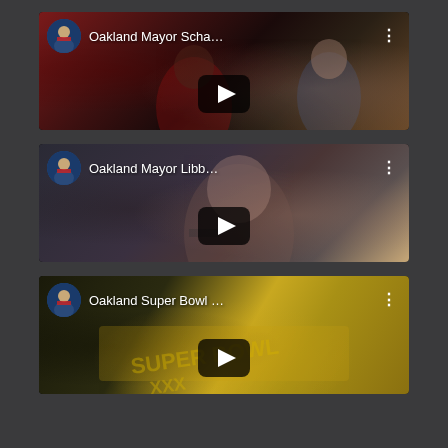[Figure (screenshot): YouTube video list screenshot showing three video thumbnails with titles: 'Oakland Mayor Scha...', 'Oakland Mayor Libb...', and 'Oakland Super Bowl...', each with a play button, channel avatar, and three-dot menu icon.]